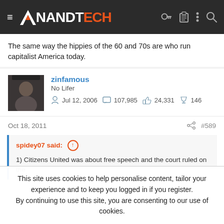AnandTech
The same way the hippies of the 60 and 70s are who run capitalist America today.
zinfamous
No Lifer
Jul 12, 2006  107,985  24,331  146
Oct 18, 2011  #589
spidey07 said: ↑
1) Citizens United was about free speech and the court ruled on the
This site uses cookies to help personalise content, tailor your experience and to keep you logged in if you register.
By continuing to use this site, you are consenting to our use of cookies.